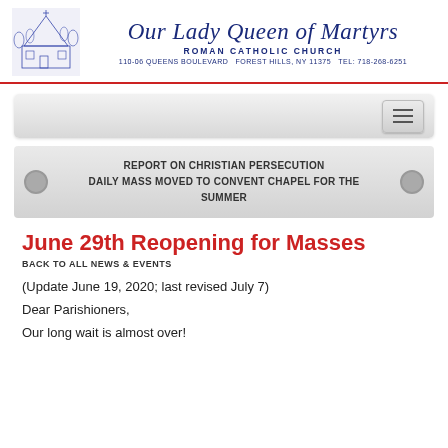Our Lady Queen of Martyrs ROMAN CATHOLIC CHURCH 110-06 QUEENS BOULEVARD  FOREST HILLS, NY 11375  TEL: 718-268-6251
[Figure (screenshot): Church building illustration in blue ink]
REPORT ON CHRISTIAN PERSECUTION  DAILY MASS MOVED TO CONVENT CHAPEL FOR THE SUMMER
June 29th Reopening for Masses
BACK TO ALL NEWS & EVENTS
(Update June 19, 2020; last revised July 7)
Dear Parishioners,
Our long wait is almost over!